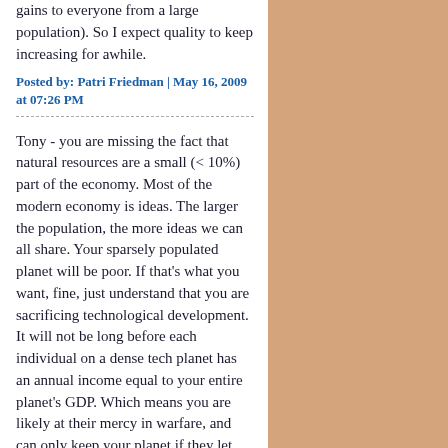gains to everyone from a large population). So I expect quality to keep increasing for awhile.
Posted by: Patri Friedman | May 16, 2009 at 07:26 PM
Tony - you are missing the fact that natural resources are a small (< 10%) part of the economy. Most of the modern economy is ideas. The larger the population, the more ideas we can all share. Your sparsely populated planet will be poor. If that's what you want, fine, just understand that you are sacrificing technological development. It will not be long before each individual on a dense tech planet has an annual income equal to your entire planet's GDP. Which means you are likely at their mercy in warfare, and can only keep your planet if they let you.